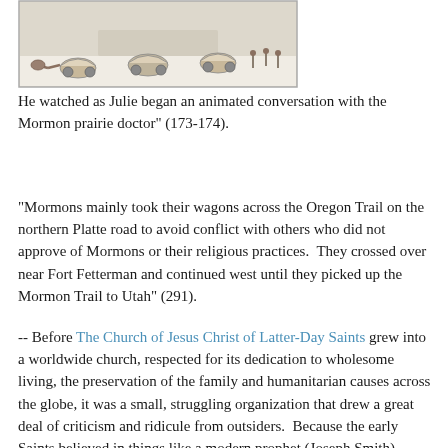[Figure (illustration): Historical illustration of Mormon wagon train crossing snowy plains with horses, covered wagons, and figures.]
He watched as Julie began an animated conversation with the Mormon prairie doctor" (173-174).
"Mormons mainly took their wagons across the Oregon Trail on the northern Platte road to avoid conflict with others who did not approve of Mormons or their religious practices.  They crossed over near Fort Fetterman and continued west until they picked up the Mormon Trail to Utah" (291).
-- Before The Church of Jesus Christ of Latter-Day Saints grew into a worldwide church, respected for its dedication to wholesome living, the preservation of the family and humanitarian causes across the globe, it was a small, struggling organization that drew a great deal of criticism and ridicule from outsiders.  Because the early Saints believed in things like a modern prophet (Joseph Smith), divine revelation, The Book of Mormon and polygamy, they were persecuted cruelly and continually.  Always in pursuit of the freedom to practice their religion, they moved from place to place, often driven out by angry mobs.  After the murder of Joseph